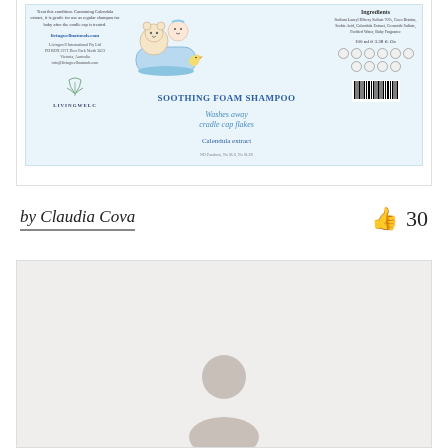[Figure (photo): Product label for Livingwell Naturals Soothing Foam Shampoo with baby illustration, ingredients, barcode, and company info]
by Claudia Cova
30
[Figure (photo): Gray/beige background card with partial view of a person silhouette at the bottom]